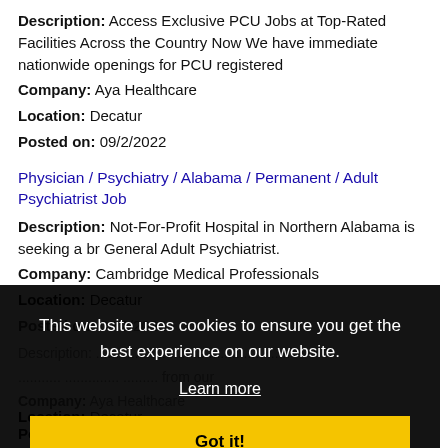Description: Access Exclusive PCU Jobs at Top-Rated Facilities Across the Country Now We have immediate nationwide openings for PCU registered
Company: Aya Healthcare
Location: Decatur
Posted on: 09/2/2022
Physician / Psychiatry / Alabama / Permanent / Adult Psychiatrist Job
Description: Not-For-Profit Hospital in Northern Alabama is seeking a br General Adult Psychiatrist.
Company: Cambridge Medical Professionals
Location: Decatur
[Figure (screenshot): Cookie consent overlay with black background. Text reads: 'This website uses cookies to ensure you get the best experience on our website.' with a 'Learn more' link and a yellow 'Got it!' button.]
Posted on: 09/2/2022